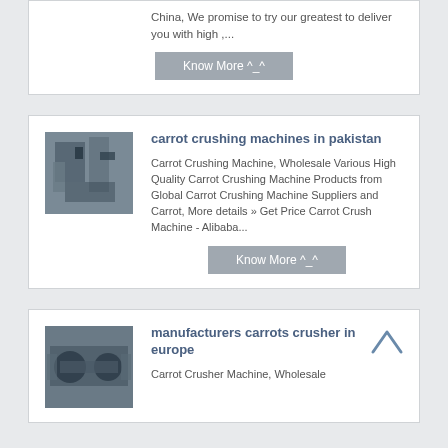China, We promise to try our greatest to deliver you with high ,...
Know More ^_^
carrot crushing machines in pakistan
Carrot Crushing Machine, Wholesale Various High Quality Carrot Crushing Machine Products from Global Carrot Crushing Machine Suppliers and Carrot, More details » Get Price Carrot Crush Machine - Alibaba...
Know More ^_^
[Figure (photo): Industrial crushing machine equipment]
manufacturers carrots crusher in europe
Carrot Crusher Machine, Wholesale
[Figure (photo): Industrial pipe equipment photo]